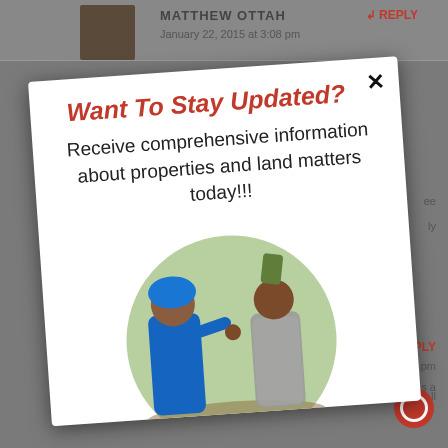[Figure (screenshot): Background of a blog comments section showing a comment by MATTHEW OTTAH dated January 22, 2015 at 3:08 pm, with a REPLY button, and partial sidebar UI elements]
[Figure (photo): A popup modal overlay (slightly rotated) on a website with the title 'Want To Stay Updated?' in bold red italic text, followed by 'Receive comprehensive information about properties and land matters today!!!' in large dark text, and below a circular photo of two people (a woman in blue and a man) in a confrontational pose, with the word OVER partially visible at the bottom]
Want To Stay Updated?
Receive comprehensive information about properties and land matters today!!!